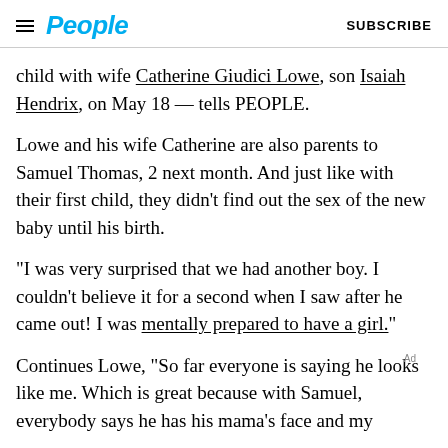People  SUBSCRIBE
child with wife Catherine Giudici Lowe, son Isaiah Hendrix, on May 18 — tells PEOPLE.
Lowe and his wife Catherine are also parents to Samuel Thomas, 2 next month. And just like with their first child, they didn't find out the sex of the new baby until his birth.
“I was very surprised that we had another boy. I couldn’t believe it for a second when I saw after he came out! I was mentally prepared to have a girl.”
Continues Lowe, “So far everyone is saying he looks like me. Which is great because with Samuel, everybody says he has his mama’s face and my